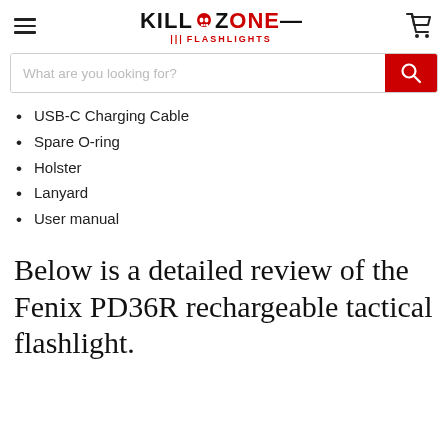KILLZONE FLASHLIGHTS
USB-C Charging Cable
Spare O-ring
Holster
Lanyard
User manual
Below is a detailed review of the Fenix PD36R rechargeable tactical flashlight.